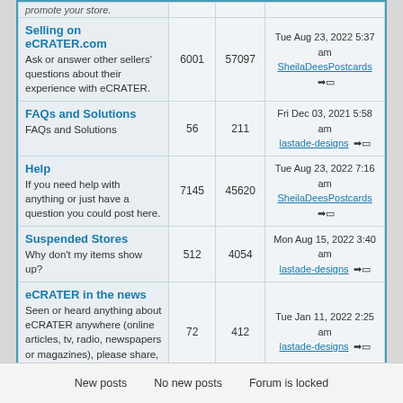| Forum | Topics | Posts | Last Post |
| --- | --- | --- | --- |
| Selling on eCRATER.com
Ask or answer other sellers' questions about their experience with eCRATER. | 6001 | 57097 | Tue Aug 23, 2022 5:37 am
SheilaDeesPostcards |
| FAQs and Solutions
FAQs and Solutions | 56 | 211 | Fri Dec 03, 2021 5:58 am
lastade-designs |
| Help
If you need help with anything or just have a question you could post here. | 7145 | 45620 | Tue Aug 23, 2022 7:16 am
SheilaDeesPostcards |
| Suspended Stores
Why don't my items show up? | 512 | 4054 | Mon Aug 15, 2022 3:40 am
lastade-designs |
| eCRATER in the news
Seen or heard anything about eCRATER anywhere (online articles, tv, radio, newspapers or magazines), please share, we'd love to know. | 72 | 412 | Tue Jan 11, 2022 2:25 am
lastade-designs |
New posts   No new posts   Forum is locked